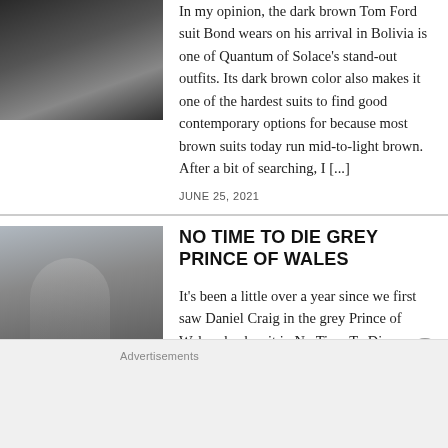[Figure (photo): Partial view of a dark-suited man, cropped image at top left]
In my opinion, the dark brown Tom Ford suit Bond wears on his arrival in Bolivia is one of Quantum of Solace's stand-out outfits. Its dark brown color also makes it one of the hardest suits to find good contemporary options for because most brown suits today run mid-to-light brown. After a bit of searching, I [...]
JUNE 25, 2021
[Figure (photo): Daniel Craig in a grey suit walking on a London street with cars in background]
NO TIME TO DIE GREY PRINCE OF WALES
It's been a little over a year since we first saw Daniel Craig in the grey Prince of Wales check suit in No Time To Die...
Advertisements